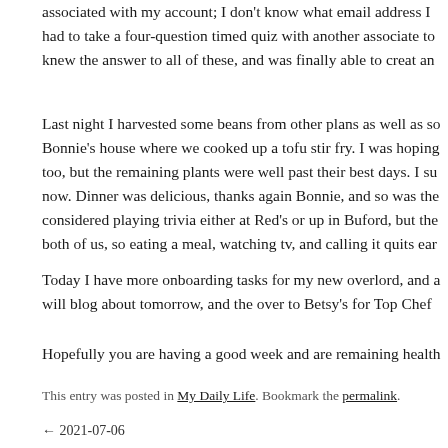associated with my account; I don't know what email address I had to take a four-question timed quiz with another associate to knew the answer to all of these, and was finally able to creat an
Last night I harvested some beans from other plans as well as so Bonnie's house where we cooked up a tofu stir fry. I was hoping too, but the remaining plants were well past their best days. I su now. Dinner was delicious, thanks again Bonnie, and so was the considered playing trivia either at Red's or up in Buford, but the both of us, so eating a meal, watching tv, and calling it quits ear
Today I have more onboarding tasks for my new overlord, and a will blog about tomorrow, and the over to Betsy's for Top Chef
Hopefully you are having a good week and are remaining health
This entry was posted in My Daily Life. Bookmark the permalink.
← 2021-07-06